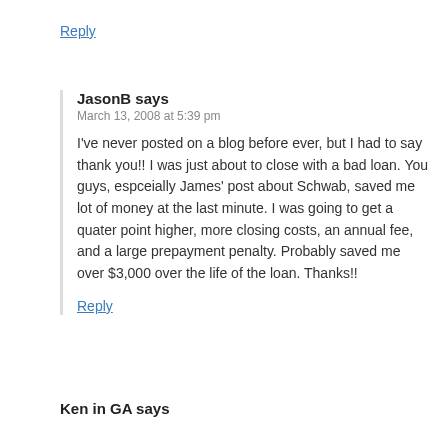Reply
JasonB says
March 13, 2008 at 5:39 pm
I've never posted on a blog before ever, but I had to say thank you!! I was just about to close with a bad loan. You guys, espceially James' post about Schwab, saved me lot of money at the last minute. I was going to get a quater point higher, more closing costs, an annual fee, and a large prepayment penalty. Probably saved me over $3,000 over the life of the loan. Thanks!!
Reply
Ken in GA says